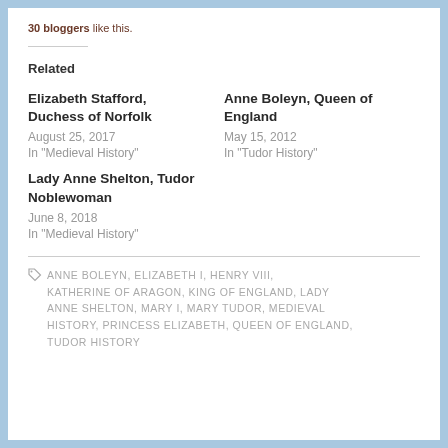30 bloggers like this.
Related
Elizabeth Stafford, Duchess of Norfolk
August 25, 2017
In "Medieval History"
Anne Boleyn, Queen of England
May 15, 2012
In "Tudor History"
Lady Anne Shelton, Tudor Noblewoman
June 8, 2018
In "Medieval History"
ANNE BOLEYN, ELIZABETH I, HENRY VIII, KATHERINE OF ARAGON, KING OF ENGLAND, LADY ANNE SHELTON, MARY I, MARY TUDOR, MEDIEVAL HISTORY, PRINCESS ELIZABETH, QUEEN OF ENGLAND, TUDOR HISTORY